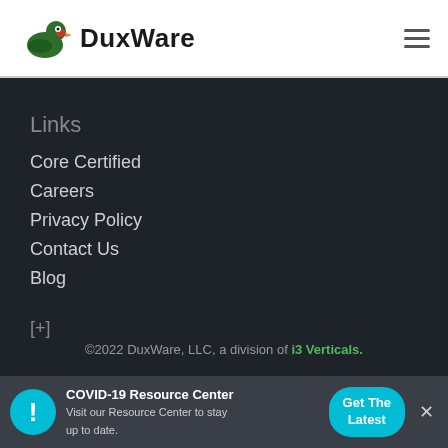DuxWare
Links
Core Certified
Careers
Privacy Policy
Contact Us
Blog
[+]
©2022 DuxWare, LLC, a division of i3 Verticals.
COVID-19 Resource Center
Visit our Resource Center to stay up to date.
Get The Latest